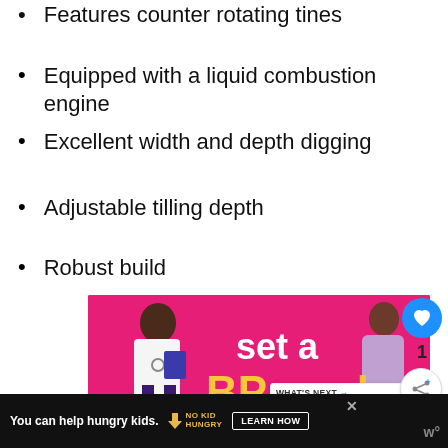Features counter rotating tines
Equipped with a liquid combustion engine
Excellent width and depth digging
Adjustable tilling depth
Robust build
[Figure (illustration): Advertisement image with pink background showing a doctor figure on the left and a patient on the right with text 'set a BP goal' in white and yellow. Overlaid with a 'What's Next' box showing '5 best paring knife: review...']
[Figure (infographic): Bottom advertisement bar: 'You can help hungry kids. No Kid Hungry LEARN HOW']